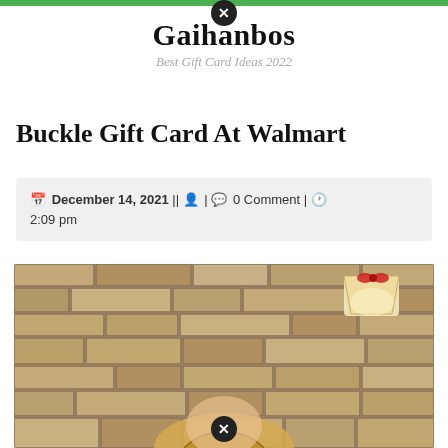Gaihanbos — Best Gift Card Ideas 2022
Buckle Gift Card At Walmart
December 14, 2021 || 0 Comment | 2:09 pm
[Figure (photo): A person with braided blonde hair standing in front of a stone/brick wall with a lamp decorated with a red bow visible in the upper right corner]